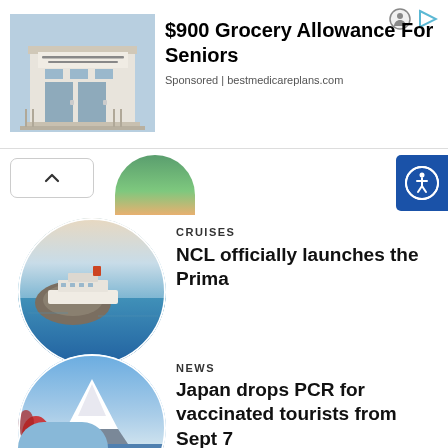[Figure (screenshot): Advertisement banner: Social Security Administration building image with text '$900 Grocery Allowance For Seniors', Sponsored | bestmedicareplans.com]
[Figure (photo): Circular photo of a cruise ship near rocky island on blue water, for CRUISES article]
CRUISES
NCL officially launches the Prima
[Figure (photo): Circular photo of Mount Fuji with red flowers and lake in foreground, for NEWS article]
NEWS
Japan drops PCR for vaccinated tourists from Sept 7